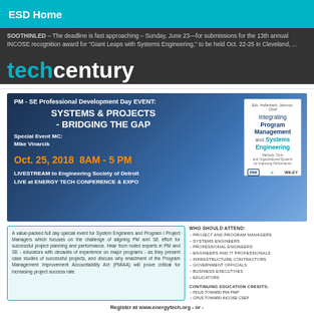ESD Home
SOOTHINLED – The deadline is fast approaching – Sunday, June 23—for submissions for the 13th annual INCOSE recognition award for "Giant Leaps with Systems Engineering," to be held Oct. 22-25 in Cleveland, ...
[Figure (logo): techcentury logo in cyan and white on dark background]
[Figure (infographic): PM - SE Professional Development Day EVENT: SYSTEMS & PROJECTS - BRIDGING THE GAP. Special Event MC: Mike Vinarcik. Oct. 25, 2018 8AM - 5 PM. LIVESTREAM to Engineering Society of Detroit. LIVE at ENERGY TECH CONFERENCE & EXPO. Book: Integrating Program Management and Systems Engineering.]
A value-packed full day special event for System Engineers and Program / Project Managers which focuses on the challenge of aligning PM and SE effort for successful project planning and performance. Hear from noted experts in PM and SE - educators with decades of experience on major programs - as they present case studies of successful projects, and discuss why enactment of the Program Management Improvement Accountability Act (PMIAA) will prove critical for increasing project success rate.
WHO SHOULD ATTEND:
– Project and program managers
– Systems engineers
– Professional engineers
– Engineers and IT professionals
– Infrastructure contractors
– Government officials
– Business executives
– Educators
Continuing Education Credits:
-- PDUs toward PMI PMP
-- CPUs toward INCOSE CSEP
Register at www.energytech.org - or -